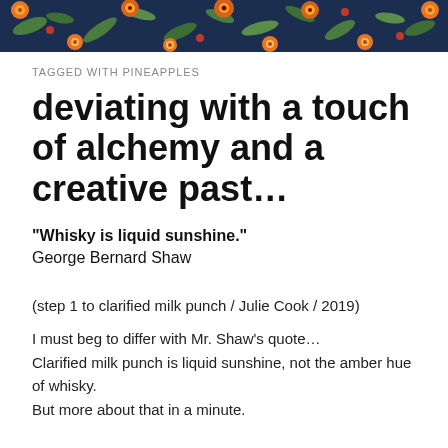[Figure (illustration): Decorative floral header banner with orange and yellow flowers, green leaves, and dark navy blue background, spanning full width at top of page.]
TAGGED WITH PINEAPPLES
deviating with a touch of alchemy and a creative past…
“Whisky is liquid sunshine.”
George Bernard Shaw
(step 1 to clarified milk punch / Julie Cook / 2019)
I must beg to differ with Mr. Shaw’s quote…
Clarified milk punch is liquid sunshine, not the amber hue of whisky.
But more about that in a minute.